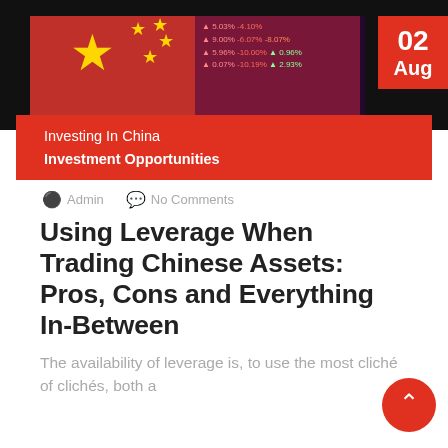[Figure (photo): Chinese flag with red background and yellow stars, overlaid with stock market ticker data showing various percentage changes in red/pink text against a dark purple/maroon background. A red date badge showing '02 Aug' is in the top right corner.]
Investing In China
Investment Opportunities
Admin   No Comments
Using Leverage When Trading Chinese Assets: Pros, Cons and Everything In-Between
The availability of leverage is, to use the most cliché of clichés, both a